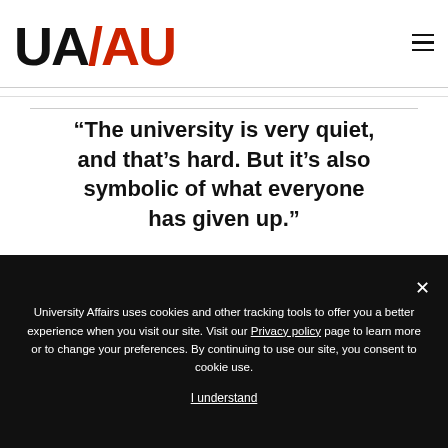[Figure (logo): UA/AU University Affairs logo — 'UA' in black bold, slash and 'AU' in red bold]
“The university is very quiet, and that’s hard. But it’s also symbolic of what everyone has given up.”
University Affairs uses cookies and other tracking tools to offer you a better experience when you visit our site. Visit our Privacy policy page to learn more or to change your preferences. By continuing to use our site, you consent to cookie use.
I understand